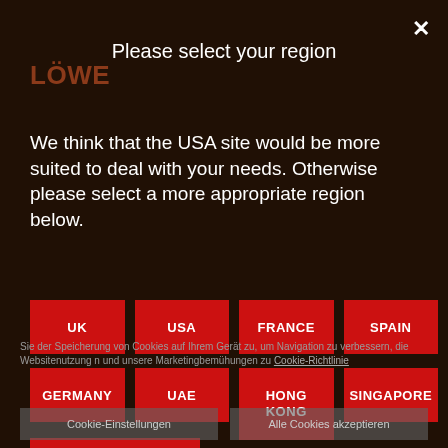Please select your region
We think that the USA site would be more suited to deal with your needs. Otherwise please select a more appropriate region below.
UK
USA
FRANCE
SPAIN
GERMANY
UAE
HONG KONG
SINGAPORE
SAUDI ARABIA
Sie der Speicherung von Cookies auf Ihrem Gerät zu, um Navigation zu verbessern, die Websitenutzung n und unsere Marketingbemühungen zu Cookie-Richtlinie
Cookie-Einstellungen
Alle Cookies akzeptieren